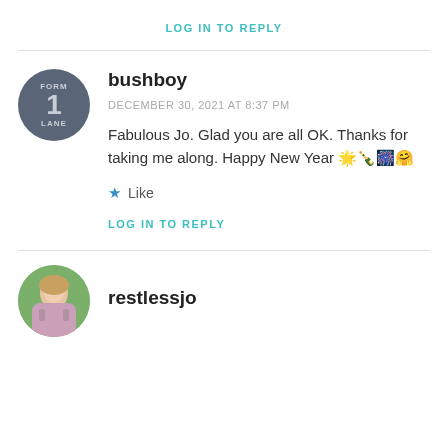LOG IN TO REPLY
bushboy
DECEMBER 30, 2021 AT 8:37 PM
Fabulous Jo. Glad you are all OK. Thanks for taking me along. Happy New Year 🌟🍾🎆🤗
Like
LOG IN TO REPLY
restlessjo